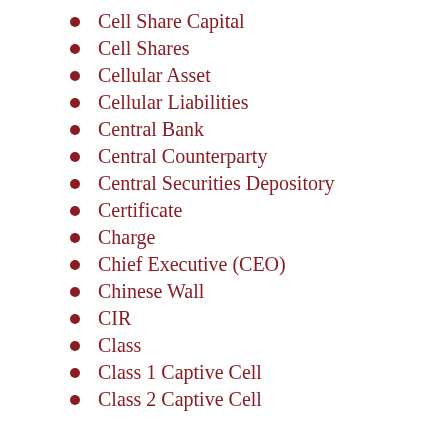Cell Share Capital
Cell Shares
Cellular Asset
Cellular Liabilities
Central Bank
Central Counterparty
Central Securities Depository
Certificate
Charge
Chief Executive (CEO)
Chinese Wall
CIR
Class
Class 1 Captive Cell
Class 2 Captive Cell